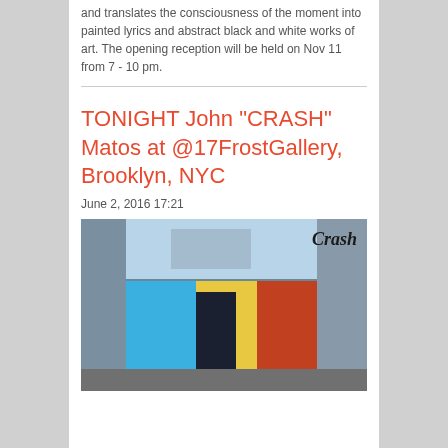and translates the consciousness of the moment into painted lyrics and abstract black and white works of art. The opening reception will be held on Nov 11 from 7 - 10 pm.
TONIGHT John "CRASH" Matos at @17FrostGallery, Brooklyn, NYC
June 2, 2016 17:21
[Figure (photo): Photograph of a colorful street mural on a building exterior in Brooklyn, NYC, featuring a large eye, the word 'Crash' in graffiti lettering, surrounding urban buildings]